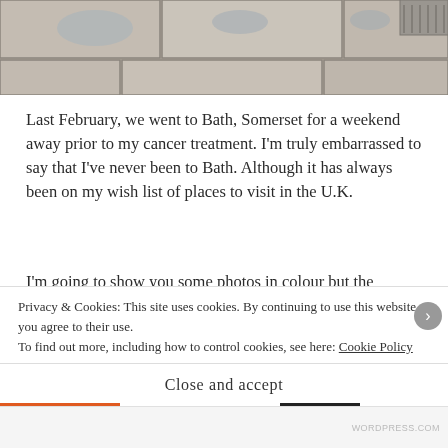[Figure (photo): Wet stone paving slabs with water puddles reflecting light, viewed from above]
Last February, we went to Bath, Somerset for a weekend away prior to my cancer treatment. I'm truly embarrassed to say that I've never been to Bath. Although it has always been on my wish list of places to visit in the U.K.
I'm going to show you some photos in colour but the remaining photos in B & W as the weather was diabolical. The U.K. was experiencing Storm Ciara, so everywhere was very grey, windy and wet. Sorry about the rain droplets on the next photo but the weather was
Privacy & Cookies: This site uses cookies. By continuing to use this website, you agree to their use.
To find out more, including how to control cookies, see here: Cookie Policy
Close and accept